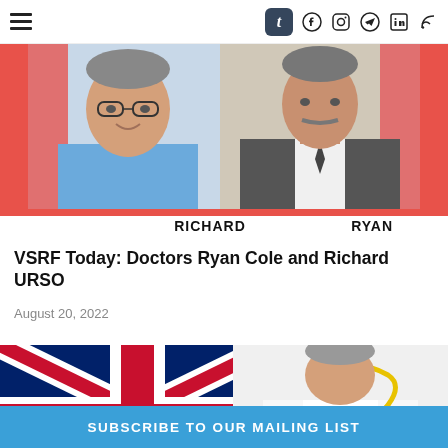Navigation bar with hamburger menu and social icons: Tumblr, Facebook, Instagram, Telegram, LinkedIn, RSS
[Figure (photo): Two headshot photos side by side on a coral/salmon red background. Left photo: Richard (man with glasses in blue scrubs). Right photo: Ryan (man with mustache in suit).]
RICHARD   RYAN
VSRF Today: Doctors Ryan Cole and Richard URSO
August 20, 2022
[Figure (photo): Image of a doctor in white coat with stethoscope, arms crossed, overlaid on a Union Jack (UK flag) background.]
SUBSCRIBE TO OUR MAILING LIST